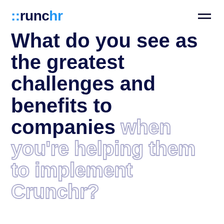crunchr
What do you see as the greatest challenges and benefits to companies when you're helping them to implement Crunchr?